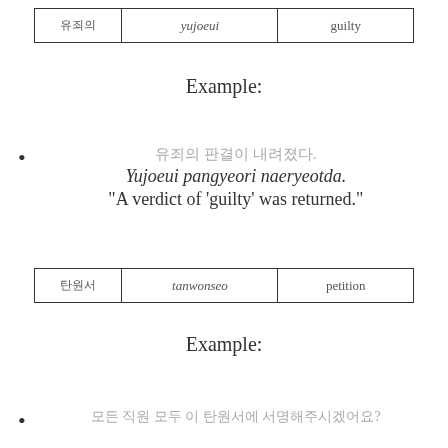| 유죄의 | yujoeui | guilty |
Example:
유죄의 판결이 내려졌다. Yujoeui pangyeori naeryeotda. "A verdict of 'guilty' was returned."
| 탄원서 | tanwonseo | petition |
Example:
모든 직원 모두 이 탄원서에 서명해주시겠어요?